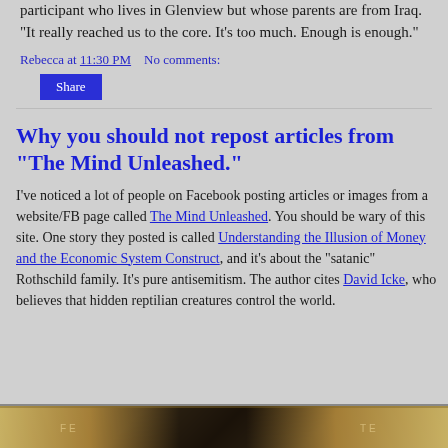participant who lives in Glenview but whose parents are from Iraq. "It really reached us to the core. It's too much. Enough is enough."
Rebecca at 11:30 PM    No comments:
Share
Why you should not repost articles from "The Mind Unleashed."
I've noticed a lot of people on Facebook posting articles or images from a website/FB page called The Mind Unleashed. You should be wary of this site. One story they posted is called Understanding the Illusion of Money and the Economic System Construct, and it's about the "satanic" Rothschild family. It's pure antisemitism. The author cites David Icke, who believes that hidden reptilian creatures control the world.
[Figure (photo): Bottom strip showing a partial image of a dollar bill with gold/dark tones]